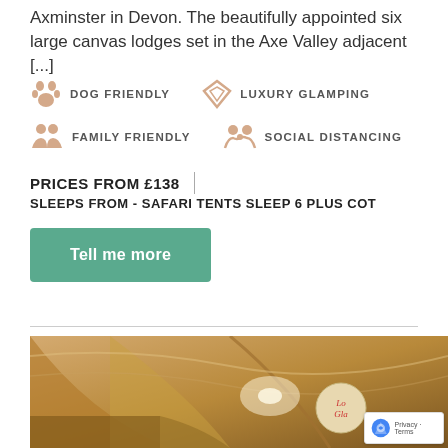Axminster in Devon. The beautifully appointed six large canvas lodges set in the Axe Valley adjacent [...]
DOG FRIENDLY
LUXURY GLAMPING
FAMILY FRIENDLY
SOCIAL DISTANCING
PRICES FROM £138 | SLEEPS FROM - SAFARI TENTS SLEEP 6 PLUS COT
Tell me more
[Figure (photo): Interior of a canvas glamping tent with warm golden/amber tones, showing draped fabric ceiling and soft lighting. A circular logo overlay partially visible at bottom right.]